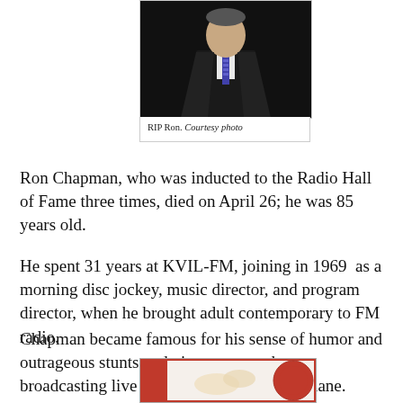[Figure (photo): Photo of Ron Chapman wearing a suit and tie against a dark background]
RIP Ron. Courtesy photo
Ron Chapman, who was inducted to the Radio Hall of Fame three times, died on April 26; he was 85 years old.
He spent 31 years at KVIL-FM, joining in 1969  as a morning disc jockey, music director, and program director, when he brought adult contemporary to FM radio.
Chapman became famous for his sense of humor and outrageous stunts and giveaways such as broadcasting live while skydiving from a plane.
[Figure (photo): Partial image at bottom of page, appears to be food or event related with red border]